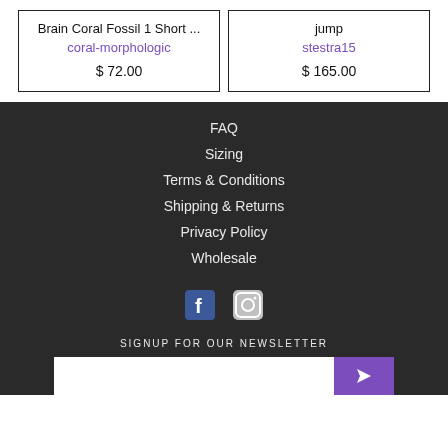Brain Coral Fossil 1 Short ...
coral-morphologic
$ 72.00
jump
stestra15
$ 165.00
FAQ
Sizing
Terms & Conditions
Shipping & Returns
Privacy Policy
Wholesale
[Figure (illustration): Facebook icon]
[Figure (illustration): Instagram icon]
SIGNUP FOR OUR NEWSLETTER